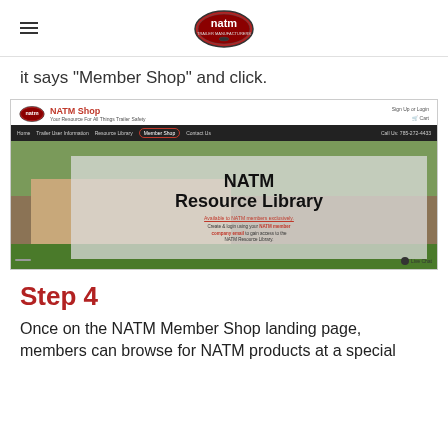NATM logo header with hamburger menu
it says "Member Shop" and click.
[Figure (screenshot): Screenshot of the NATM Shop website showing the NATM Resource Library landing page with navigation bar where Member Shop is circled in red.]
Step 4
Once on the NATM Member Shop landing page, members can browse for NATM products at a special